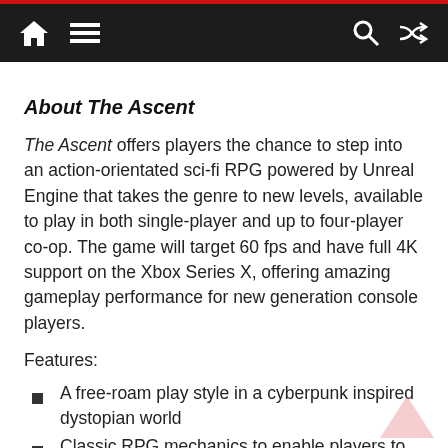Navigation bar with home, menu, search, and shuffle icons
About The Ascent
The Ascent offers players the chance to step into an action-orientated sci-fi RPG powered by Unreal Engine that takes the genre to new levels, available to play in both single-player and up to four-player co-op. The game will target 60 fps and have full 4K support on the Xbox Series X, offering amazing gameplay performance for new generation console players.
Features:
A free-roam play style in a cyberpunk inspired dystopian world
Classic RPG mechanics to enable players to build up their character including cyberware,